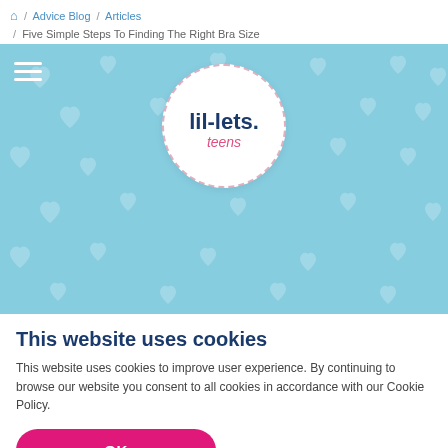🏠 / Advice Blog / Articles / Five Simple Steps To Finding The Right Bra Size
[Figure (logo): Lil-lets teens logo on light blue banner background with heart pattern and hamburger menu icon]
This website uses cookies
This website uses cookies to improve user experience. By continuing to browse our website you consent to all cookies in accordance with our Cookie Policy.
OK
Read more